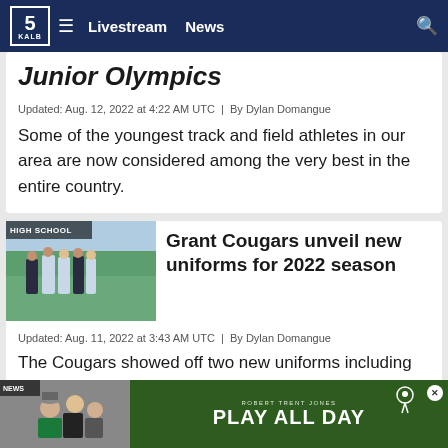KALB 5 — Livestream | News
Junior Olympics
Updated: Aug. 12, 2022 at 4:22 AM UTC  |  By Dylan Domangue
Some of the youngest track and field athletes in our area are now considered among the very best in the entire country.
[Figure (photo): HIGH SCHOOL tag with football players on green field]
Grant Cougars unveil new uniforms for 2022 season
Updated: Aug. 11, 2022 at 3:43 AM UTC  |  By Dylan Domangue
The Cougars showed off two new uniforms including an all-white combination and a black-out uniform with a white helmet.
[Figure (screenshot): NEWS thumbnail and green golf course advertisement banner reading PLAY ALL DAY with Robert Trent Jones Golf Trail logo]